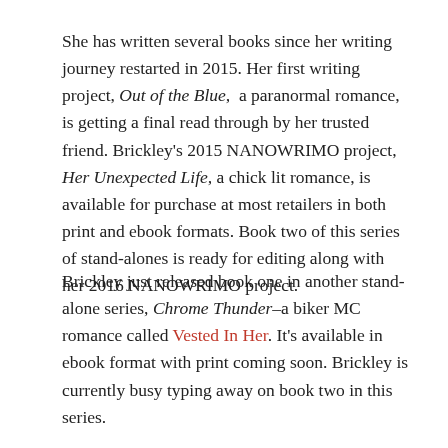She has written several books since her writing journey restarted in 2015. Her first writing project, Out of the Blue, a paranormal romance, is getting a final read through by her trusted friend. Brickley's 2015 NANOWRIMO project, Her Unexpected Life, a chick lit romance, is available for purchase at most retailers in both print and ebook formats. Book two of this series of stand-alones is ready for editing along with her 2016 NANOWRIMO project.
Brickley just released book one in another stand-alone series, Chrome Thunder–a biker MC romance called Vested In Her. It's available in ebook format with print coming soon. Brickley is currently busy typing away on book two in this series.